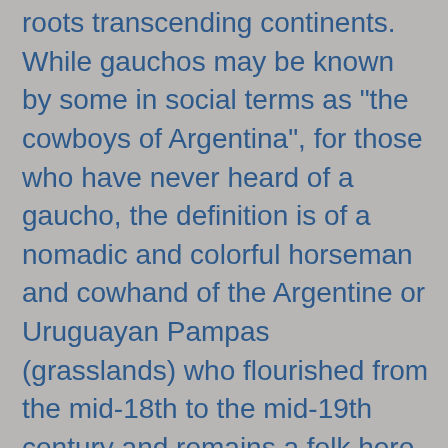roots transcending continents. While gauchos may be known by some in social terms as "the cowboys of Argentina", for those who have never heard of a gaucho, the definition is of a nomadic and colorful horseman and cowhand of the Argentine or Uruguayan Pampas (grasslands) who flourished from the mid-18th to the mid-19th century and remains a folk hero. The Argentine gaucho is a symbol of bravery and unruly strength.